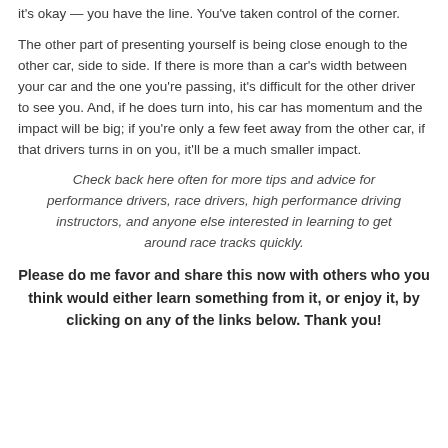it's okay — you have the line. You've taken control of the corner.
The other part of presenting yourself is being close enough to the other car, side to side. If there is more than a car's width between your car and the one you're passing, it's difficult for the other driver to see you. And, if he does turn into, his car has momentum and the impact will be big; if you're only a few feet away from the other car, if that drivers turns in on you, it'll be a much smaller impact.
Check back here often for more tips and advice for performance drivers, race drivers, high performance driving instructors, and anyone else interested in learning to get around race tracks quickly.
Please do me favor and share this now with others who you think would either learn something from it, or enjoy it, by clicking on any of the links below. Thank you!